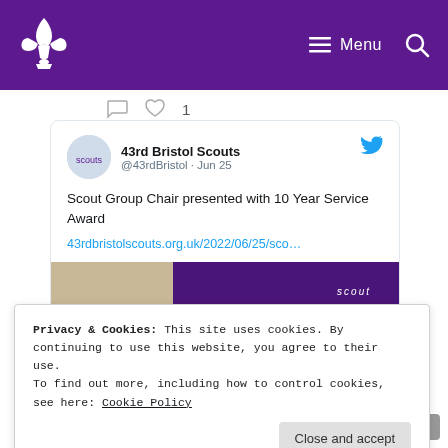Scouts Menu
[Figure (screenshot): Social media interaction icons: comment bubble and heart with count 1]
[Figure (screenshot): Tweet from 43rd Bristol Scouts (@43rdBristol · Jun 25): 'Scout Group Chair presented with 10 Year Service Award' with link 43rdbristolscouts.org.uk/2022/06/25/sco… and partial photo of people in Scout uniform]
Privacy & Cookies: This site uses cookies. By continuing to use this website, you agree to their use.
To find out more, including how to control cookies, see here: Cookie Policy
Close and accept
43rdbristolscouts.org.uk